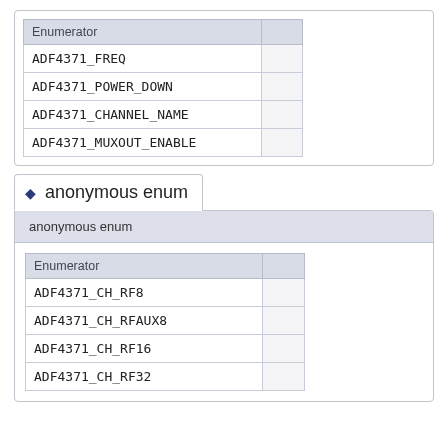| Enumerator |  |
| --- | --- |
| ADF4371_FREQ |  |
| ADF4371_POWER_DOWN |  |
| ADF4371_CHANNEL_NAME |  |
| ADF4371_MUXOUT_ENABLE |  |
anonymous enum
anonymous enum
| Enumerator |  |
| --- | --- |
| ADF4371_CH_RF8 |  |
| ADF4371_CH_RFAUX8 |  |
| ADF4371_CH_RF16 |  |
| ADF4371_CH_RF32 |  |